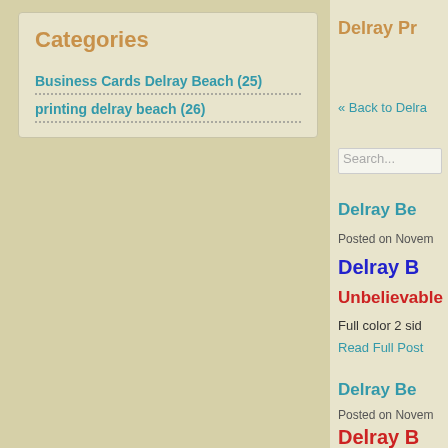Categories
Business Cards Delray Beach (25)
printing delray beach (26)
Delray Pr
« Back to Delra
Search...
Delray Be
Posted on Novem
Delray B
Unbelievable
Full color 2 sid
Read Full Post
Delray Be
Posted on Novem
Delray B